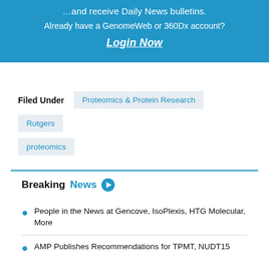…and receive Daily News bulletins.
Already have a GenomeWeb or 360Dx account?
Login Now
Filed Under
Proteomics & Protein Research
Rutgers
proteomics
Breaking News
People in the News at Gencove, IsoPlexis, HTG Molecular, More
AMP Publishes Recommendations for TPMT, NUDT15